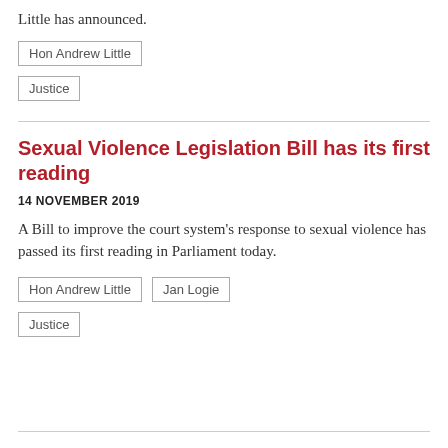Little has announced.
Hon Andrew Little
Justice
Sexual Violence Legislation Bill has its first reading
14 NOVEMBER 2019
A Bill to improve the court system's response to sexual violence has passed its first reading in Parliament today.
Hon Andrew Little
Jan Logie
Justice